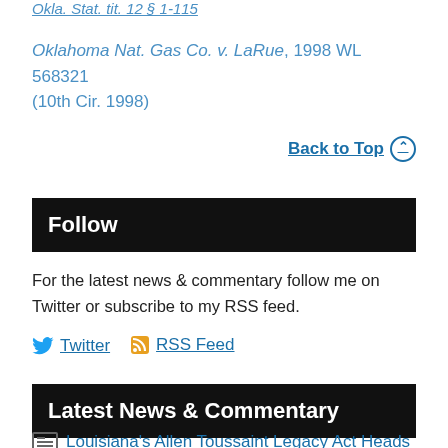Okla. Stat. tit. 12 § 1-115
Oklahoma Nat. Gas Co. v. LaRue, 1998 WL 568321 (10th Cir. 1998)
Back to Top ⊙
Follow
For the latest news & commentary follow me on Twitter or subscribe to my RSS feed.
Twitter
RSS Feed
Latest News & Commentary
Louisiana's Allen Toussaint Legacy Act Heads to